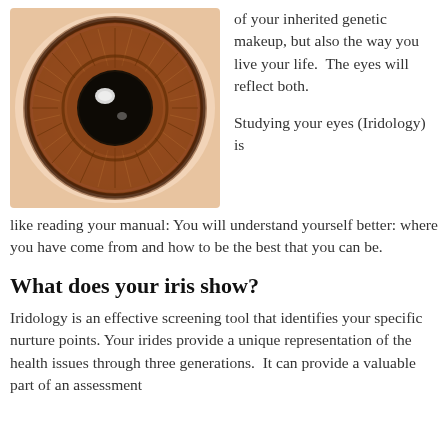[Figure (photo): Close-up macro photograph of a human iris, showing detailed brown/amber iris texture with radial fibers and a dark pupil with a light reflection highlight. Pink sclera visible around the edges.]
of your inherited genetic makeup, but also the way you live your life.  The eyes will reflect both.

Studying your eyes (Iridology) is like reading your manual: You will understand yourself better: where you have come from and how to be the best that you can be.
What does your iris show?
Iridology is an effective screening tool that identifies your specific nurture points. Your irides provide a unique representation of the health issues through three generations.  It can provide a valuable part of an assessment